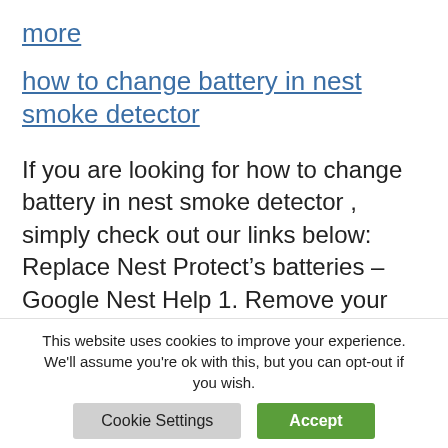more
how to change battery in nest smoke detector
If you are looking for how to change battery in nest smoke detector , simply check out our links below: Replace Nest Protect’s batteries – Google Nest Help 1. Remove your Nest Protect from its backplate. · 2. Using a Philips screwdriver, unscrew the 2 screws from the battery door ·
This website uses cookies to improve your experience. We'll assume you're ok with this, but you can opt-out if you wish.
Cookie Settings
Accept